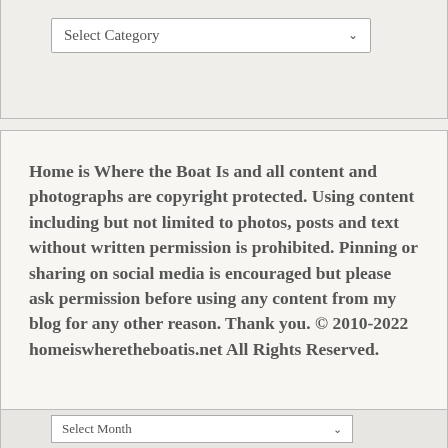Select Category
Home is Where the Boat Is and all content and photographs are copyright protected. Using content including but not limited to photos, posts and text without written permission is prohibited. Pinning or sharing on social media is encouraged but please ask permission before using any content from my blog for any other reason. Thank you. © 2010-2022 homeiswheretheboatis.net All Rights Reserved.
Privacy & Cookies: This site uses cookies. By continuing to use this website, you agree to their use.
To find out more, including how to control cookies, see here:
Cookie Policy
Close and accept
Select Month